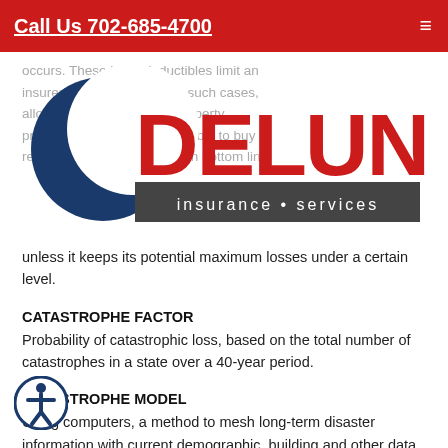Call Us 702-685-4700
[Figure (logo): DeLuna Insurance Services logo with crescent moon graphic and company name in red and gray]
unless it keeps its potential maximum losses under a certain level.
CATASTROPHE FACTOR
Probability of catastrophic loss, based on the total number of catastrophes in a state over a 40-year period.
CATASTROPHE MODEL
Using computers, a method to mesh long-term disaster information with current demographic, building and other data to determine the potential cost of natural disasters and other catastrophic losses for